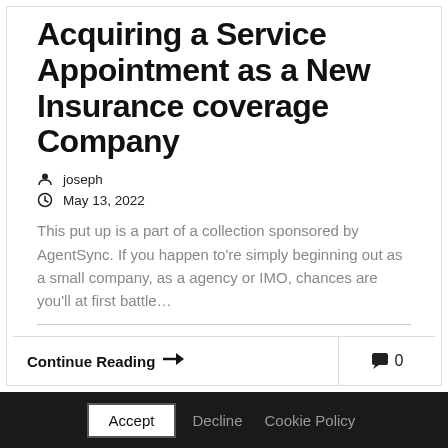Acquiring a Service Appointment as a New Insurance coverage Company
joseph
May 13, 2022
This put up is a part of a collection sponsored by AgentSync. If you happen to’re simply beginning out as a small company, as a agency or IMO, chances are you’ll at first battle…
Continue Reading ➡ 0
Accept  Decline  Cookie Policy